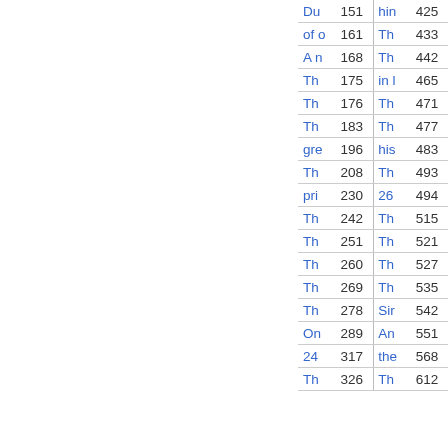| Entry | Page | Entry | Page |
| --- | --- | --- | --- |
| Du | 151 | hin | 425 |
| of o | 161 | Th | 433 |
| A n | 168 | Th | 442 |
| Th | 175 | in l | 465 |
| Th | 176 | Th | 471 |
| Th | 183 | Th | 477 |
| gre | 196 | his | 483 |
| Th | 208 | Th | 493 |
| pri | 230 | 26 | 494 |
| Th | 242 | Th | 515 |
| Th | 251 | Th | 521 |
| Th | 260 | Th | 527 |
| Th | 269 | Th | 535 |
| Th | 278 | Sir | 542 |
| On | 289 | An | 551 |
| 24 | 317 | the | 568 |
| Th | 326 | Th | 612 |